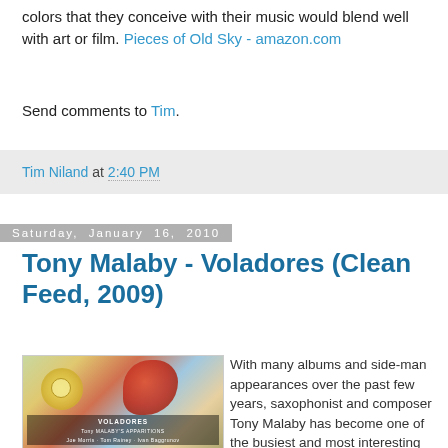colors that they conceive with their music would blend well with art or film. Pieces of Old Sky - amazon.com
Send comments to Tim.
Tim Niland at 2:40 PM
Saturday, January 16, 2010
Tony Malaby - Voladores (Clean Feed, 2009)
[Figure (photo): Album cover for Tony Malaby's Voladores - colorful abstract artwork with floral and mechanical elements, text VOLADORES at bottom]
With many albums and side-man appearances over the past few years, saxophonist and composer Tony Malaby has become one of the busiest and most interesting musicians on the contemporary jazz scene. He's also developed a relationship with the